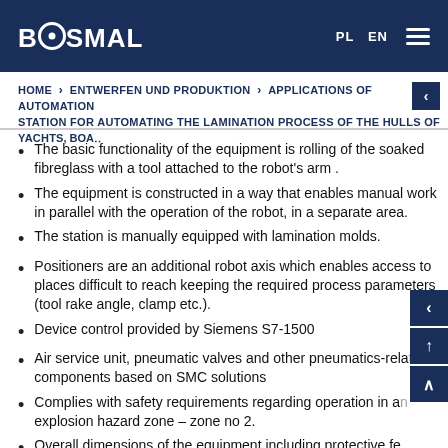BOSMAL | PL EN
HOME > ENTWERFEN UND PRODUKTION > APPLICATIONS OF AUTOMATION STATION FOR AUTOMATING THE LAMINATION PROCESS OF THE HULLS OF YACHTS, BOA...
The basic functionality of the equipment is rolling of the soaked fibreglass with a tool attached to the robot's arm .
The equipment is constructed in a way that enables manual work in parallel with the operation of the robot, in a separate area.
The station is manually equipped with lamination molds.
Positioners are an additional robot axis which enables access to places difficult to reach keeping the required process parameters (tool rake angle, clamp etc.).
Device control provided by Siemens S7-1500
Air service unit, pneumatic valves and other pneumatics-related components based on SMC solutions
Complies with safety requirements regarding operation in an explosion hazard zone – zone no 2.
Overall dimensions of the equipment including protective fe...